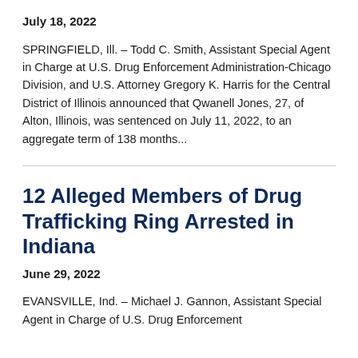July 18, 2022
SPRINGFIELD, Ill. – Todd C. Smith, Assistant Special Agent in Charge at U.S. Drug Enforcement Administration-Chicago Division, and U.S. Attorney Gregory K. Harris for the Central District of Illinois announced that Qwanell Jones, 27, of Alton, Illinois, was sentenced on July 11, 2022, to an aggregate term of 138 months...
12 Alleged Members of Drug Trafficking Ring Arrested in Indiana
June 29, 2022
EVANSVILLE, Ind. – Michael J. Gannon, Assistant Special Agent in Charge of U.S. Drug Enforcement